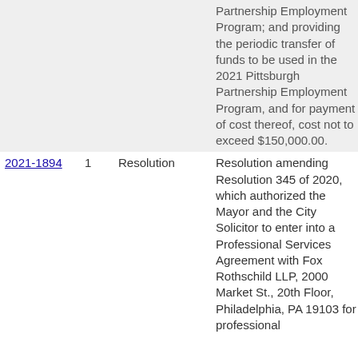| ID | # | Type | Description | Action |
| --- | --- | --- | --- | --- |
|  |  |  | Partnership Employment Program; and providing the periodic transfer of funds to be used in the 2021 Pittsburgh Partnership Employment Program, and for payment of cost thereof, cost not to exceed $150,000.00. |  |
| 2021-1894 | 1 | Resolution | Resolution amending Resolution 345 of 2020, which authorized the Mayor and the City Solicitor to enter into a Professional Services Agreement with Fox Rothschild LLP, 2000 Market St., 20th Floor, Philadelphia, PA 19103 for professional | Read an referred |